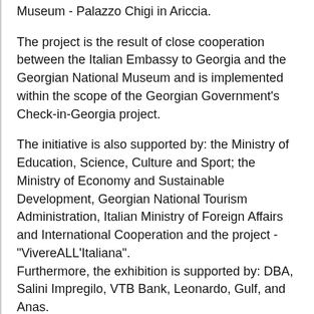Museum - Palazzo Chigi in Ariccia.
The project is the result of close cooperation between the Italian Embassy to Georgia and the Georgian National Museum and is implemented within the scope of the Georgian Government's Check-in-Georgia project.
The initiative is also supported by: the Ministry of Education, Science, Culture and Sport; the Ministry of Economy and Sustainable Development, Georgian National Tourism Administration, Italian Ministry of Foreign Affairs and International Cooperation and the project - "VivereALL'Italiana".
Furthermore, the exhibition is supported by: DBA, Salini Impregilo, VTB Bank, Leonardo, Gulf, and Anas.
The exhibition is being conducted with a joint collaboration of Palazzo Chigi and Global Project Consulting.
Giovanni Lorenzo Bernini (Naples 1598 - Rome 1680) – is perceived as a great strategist of Baroque art. For over half a century, he occupied a role of a counselor at numerous Papal offices. He is known as a sculptor and an architect, but at the same time he was a painter, screenwriter, actor and a famous comedian. The manifestation of his versatile talents is exuberated in his